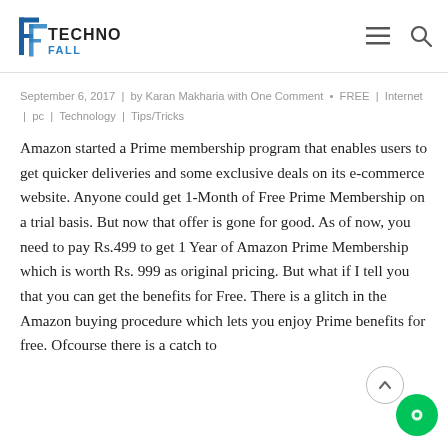TechnoFall — navigation header with logo, hamburger menu, and search icon
September 6, 2017  |  by Karan Makharia with One Comment  •  FREE  |  Internet  |  pc  |  Technology  |  Tips/Tricks
Amazon started a Prime membership program that enables users to get quicker deliveries and some exclusive deals on its e-commerce website. Anyone could get 1-Month of Free Prime Membership on a trial basis. But now that offer is gone for good. As of now, you need to pay Rs.499 to get 1 Year of Amazon Prime Membership which is worth Rs. 999 as original pricing. But what if I tell you that you can get the benefits for Free. There is a glitch in the Amazon buying procedure which lets you enjoy Prime benefits for free. Ofcourse there is a catch to